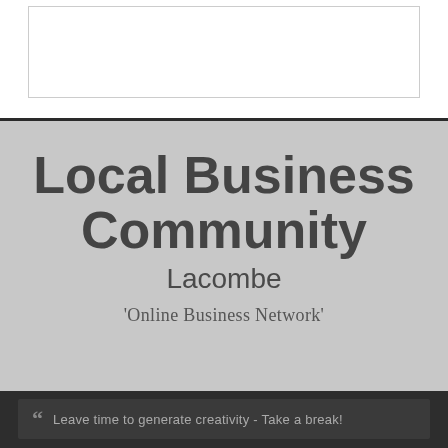Local Business Community
Lacombe
'Online Business Network'
Leave time to generate creativity - Take a break!